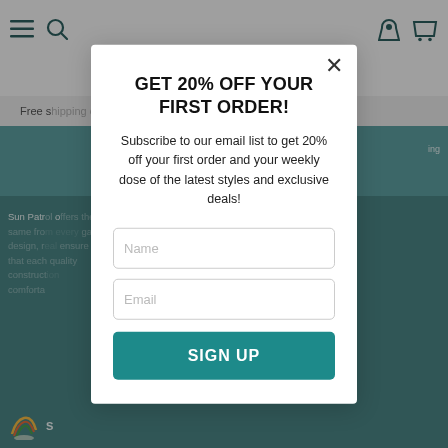[Figure (screenshot): E-commerce website background showing navigation bar with hamburger menu, search icon, user icon, and cart icon. A promotional banner reads 'Free s... er with'. A teal colored section with partial text 'ing' visible. Lower section shows partial text about Sun Patrol brand and elegant design, quality construction, comfort. A sun/rainbow logo visible at bottom left.]
GET 20% OFF YOUR FIRST ORDER!
Subscribe to our email list to get 20% off your first order and your weekly dose of the latest styles and exclusive deals!